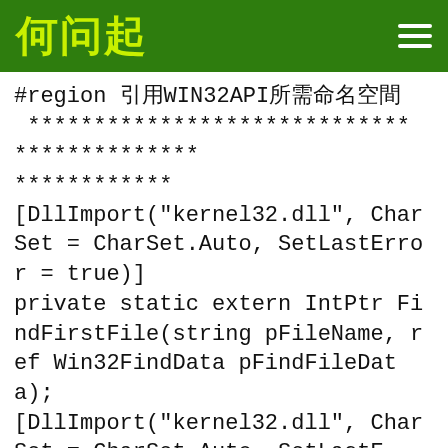何问起
#region 引用WIN32API所需命名空间
********************************************
[DllImport("kernel32.dll", CharSet = CharSet.Auto, SetLastError = true)]
private static extern IntPtr FindFirstFile(string pFileName, ref Win32FindData pFindFileData);
[DllImport("kernel32.dll", CharSet = CharSet.Auto, SetLastE